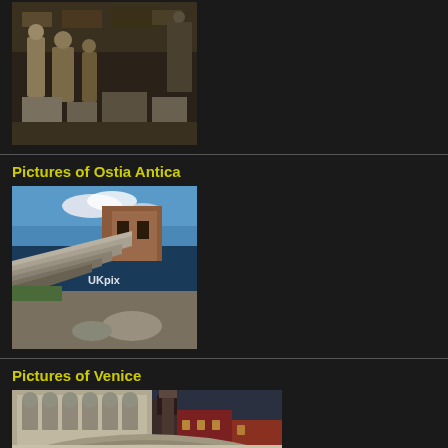[Figure (photo): Ancient Roman statues and stone artifacts displayed in a museum storehouse]
[Figure (photo): Ruins of Ostia Antica showing ancient Roman steps and brick walls with UKpix watermark]
Pictures of Ostia Antica
Pictures of Venice
[Figure (photo): Rialto Bridge in Venice at dusk with the Grand Canal below and illuminated buildings in background]